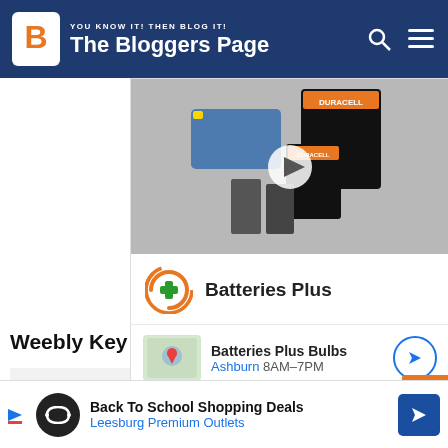YOU KNOW IT! THEN BLOG IT! The Bloggers Page
[Figure (photo): Video thumbnail showing Duracell batteries and battery products with a play button overlay]
[Figure (logo): Batteries Plus logo with orange circular arrow and green plus sign]
Batteries Plus Bulbs
Ashburn 8AM-7PM
Weebly Key Features
Drag and Drop Builder: Customize
[Figure (infographic): Bottom advertisement: Back To School Shopping Deals - Leesburg Premium Outlets]